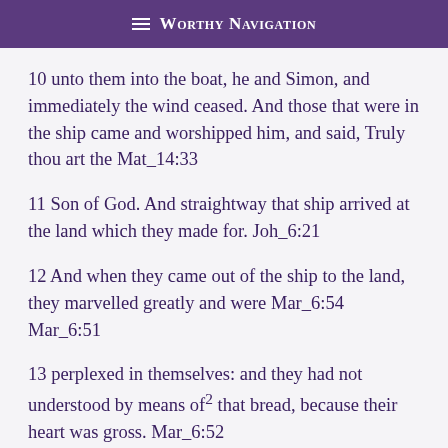≡ Worthy Navigation
10 unto them into the boat, he and Simon, and immediately the wind ceased. And those that were in the ship came and worshipped him, and said, Truly thou art the Mat_14:33
11 Son of God. And straightway that ship arrived at the land which they made for. Joh_6:21
12 And when they came out of the ship to the land, they marvelled greatly and were Mar_6:54 Mar_6:51
13 perplexed in themselves: and they had not understood by means of2 that bread, because their heart was gross. Mar_6:52